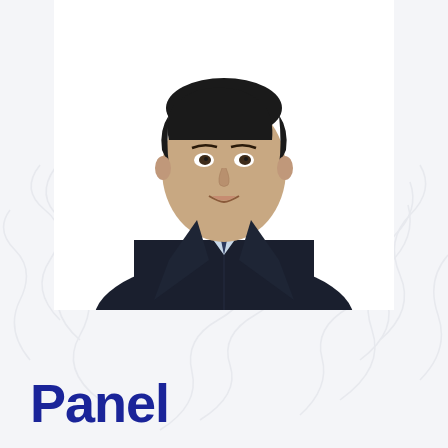[Figure (photo): Headshot of a man in a dark suit with a light blue shirt and dark tie, professional portrait on white background]
Panel